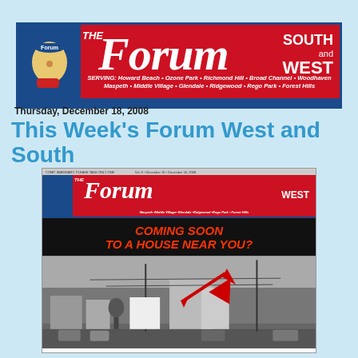[Figure (logo): The Forum South and West newspaper banner/masthead with red background, blue accents, mascot on left, large italic Forum text, SOUTH and WEST text on right, serving line listing neighborhoods]
Thursday, December 18, 2008
This Week's Forum West and South
[Figure (photo): Thumbnail of The Forum West newspaper front page showing 'COMING SOON TO A HOUSE NEAR YOU?' headline in red text on black background with a red arrow pointing to a black and white street scene photo]